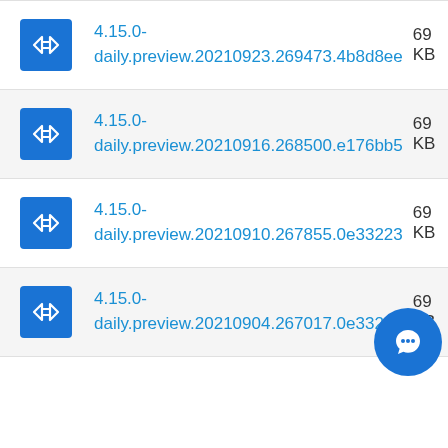4.15.0-daily.preview.20210923.269473.4b8d8ee  69  KB
4.15.0-daily.preview.20210916.268500.e176bb5  69  KB
4.15.0-daily.preview.20210910.267855.0e33223  69  KB
4.15.0-daily.preview.20210904.267017.0e33223  69  KB